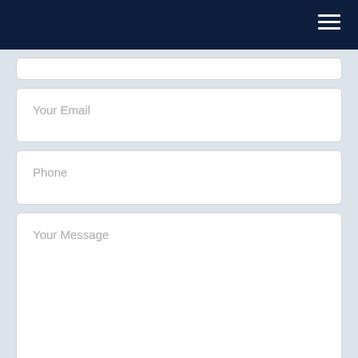Navigation bar with hamburger menu
Your Email
Phone
Your Message
Submit
[Figure (illustration): Red circular phone/call icon button]